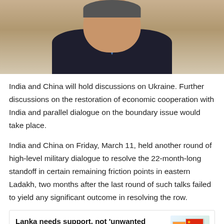[Figure (photo): Close-up photo of a man in a dark pinstripe suit with a blue tie, cropped at the top of the page]
India and China will hold discussions on Ukraine. Further discussions on the restoration of economic cooperation with India and parallel dialogue on the boundary issue would take place.
India and China on Friday, March 11, held another round of high-level military dialogue to resolve the 22-month-long standoff in certain remaining friction points in eastern Ladakh, two months after the last round of such talks failed to yield any significant outcome in resolving the row.
Lanka needs support, not 'unwanted pressure': India slams China on 'spy